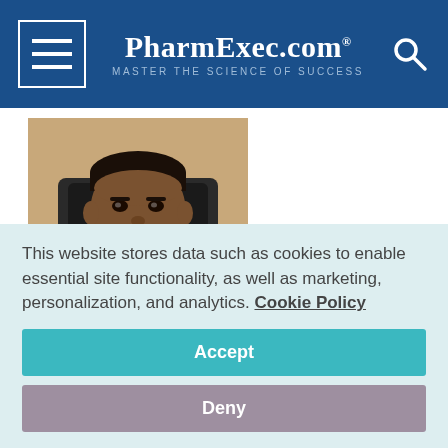PharmExec.com — MASTER THE SCIENCE OF SUCCESS
[Figure (photo): Headshot of Shashi Shekhar Kumar, a man in a suit with a red tie, seated in front of a dark chair background]
Shashi Shekhar Kumar, vice president - international business, Cadent Pharmaceuticals
This website stores data such as cookies to enable essential site functionality, as well as marketing, personalization, and analytics. Cookie Policy
Accept
Deny